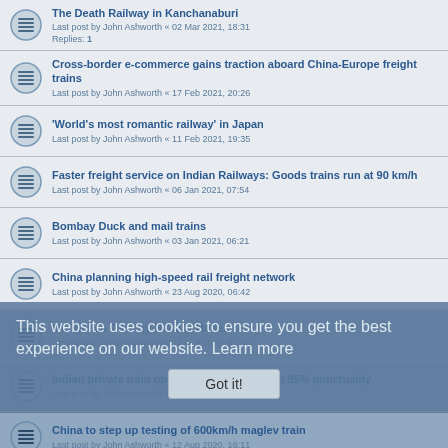The Death Railway in Kanchanaburi
Last post by John Ashworth « 02 Mar 2021, 18:31
Replies: 1
Cross-border e-commerce gains traction aboard China-Europe freight trains
Last post by John Ashworth « 17 Feb 2021, 20:26
'World's most romantic railway' in Japan
Last post by John Ashworth « 11 Feb 2021, 19:35
Faster freight service on Indian Railways: Goods trains run at 90 km/h
Last post by John Ashworth « 06 Jan 2021, 07:54
Bombay Duck and mail trains
Last post by John Ashworth « 03 Jan 2021, 06:21
China planning high-speed rail freight network
Last post by John Ashworth « 23 Aug 2020, 06:42
Mongolian Railway History Museum
Last post by John Ashworth « 14 Aug 2020, 07:50
Indian private train operator's must maintain 95% punctuality
Last post by John Ashworth « 14 Aug 2020, 07:30
China to step up testing of 600km/h maglev train
Last post by John Ashworth « 12 Aug 2020, 16:11
Indian railways suspends all regular passenger services indefinitely
This website uses cookies to ensure you get the best experience on our website. Learn more
Got it!